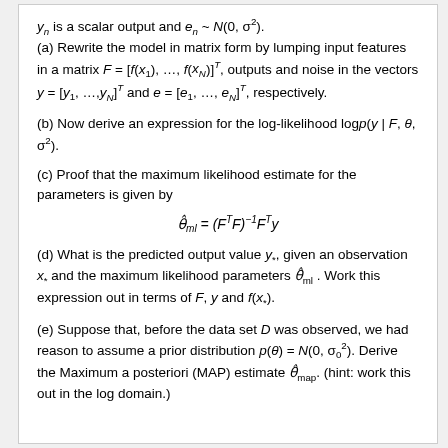y_n is a scalar output and e_n ~ N(0, σ²). (a) Rewrite the model in matrix form by lumping input features in a matrix F = [f(x₁), …, f(x_N)]^T, outputs and noise in the vectors y = [y₁, …, y_N]^T and e = [e₁, …, e_N]^T, respectively.
(b) Now derive an expression for the log-likelihood log p(y | F, θ, σ²).
(c) Proof that the maximum likelihood estimate for the parameters is given by
(d) What is the predicted output value y_*, given an observation x_* and the maximum likelihood parameters θ̂_ml. Work this expression out in terms of F, y and f(x_*).
(e) Suppose that, before the data set D was observed, we had reason to assume a prior distribution p(θ) = N(0, σ₀²). Derive the Maximum a posteriori (MAP) estimate θ̂_map. (hint: work this out in the log domain.)